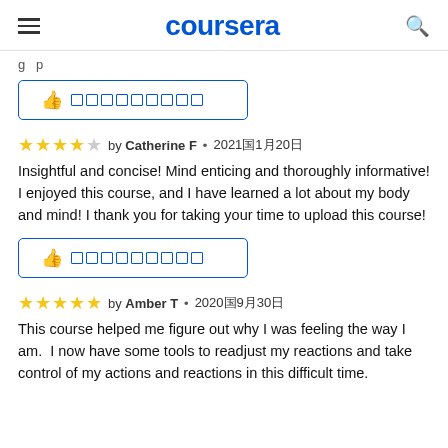coursera
g…p
[Figure (other): Helpful button with thumbs up icon and redacted text squares]
★★★★☆ by Catherine F • 2021年1月20日
Insightful and concise! Mind enticing and thoroughly informative! I enjoyed this course, and I have learned a lot about my body and mind! I thank you for taking your time to upload this course!
[Figure (other): Helpful button with thumbs up icon and redacted text squares]
★★★★★ by Amber T • 2020年9月30日
This course helped me figure out why I was feeling the way I am.  I now have some tools to readjust my reactions and take control of my actions and reactions in this difficult time.